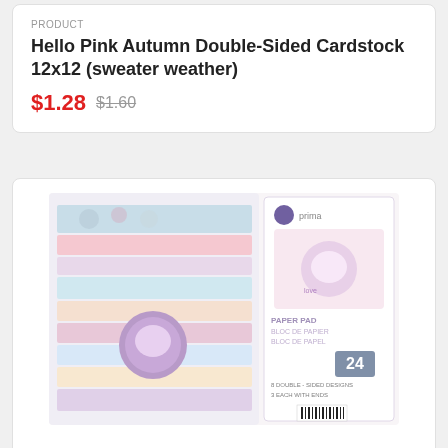PRODUCT
Hello Pink Autumn Double-Sided Cardstock 12x12 (sweater weather)
$1.28  $1.60
[Figure (photo): Prima paper pad product packaging showing decorative scrapbooking paper pad 12x12, 24 sheets, christmas sparkle theme with pink and blue pastel patterns]
PRODUCT
Paper Pad 12X12 (christmas sparkle)